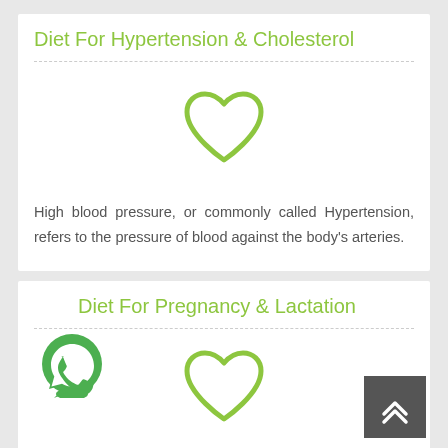Diet For Hypertension & Cholesterol
[Figure (illustration): Green outline heart icon]
High blood pressure, or commonly called Hypertension, refers to the pressure of blood against the body's arteries.
Diet For Pregnancy & Lactation
[Figure (illustration): Green outline heart icon]
[Figure (logo): WhatsApp circular button icon]
[Figure (other): Back to top button with chevron arrows]